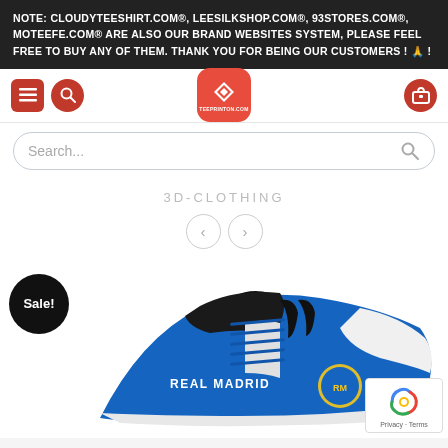NOTE: CLOUDYTEESHIRT.COM®, LEESILKSHOP.COM®, 93STORES.COM®, MOTEEFE.COM® ARE ALSO OUR BRAND WEBSITES SYSTEM, PLEASE FEEL FREE TO BUY ANY OF THEM. THANK YOU FOR BEING OUR CUSTOMERS ! 🙏 !
[Figure (screenshot): Website navigation bar with hamburger menu icon (red square), search icon (red circle), central logo (red rounded square with diamond shape and 'TEEPRINTON.COM' text), and shopping cart icon (red circle) on the right.]
[Figure (screenshot): Search bar with placeholder text 'Search...' and a search icon on the right, rounded pill shape with light border.]
3D-CLOTHING
[Figure (screenshot): Left and right navigation arrow buttons (circular outline style).]
[Figure (photo): Real Madrid branded blue, white and black low-top sneaker shoe with 'REAL MADRID' text and Real Madrid crest logo on the side. A black circular 'Sale!' badge is in the top-left corner.]
[Figure (screenshot): Google reCAPTCHA widget showing the reCAPTCHA logo and 'Privacy - Terms' text.]